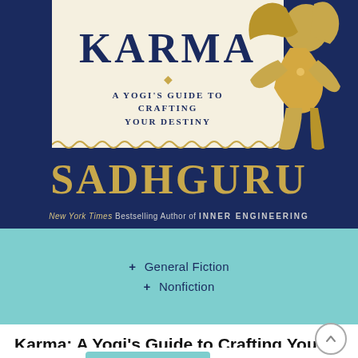[Figure (illustration): Book cover for 'Karma: A Yogi's Guide to Crafting Your Destiny' by Sadhguru. Dark navy blue background with a golden deity figure on the right. A cream-colored panel displays the title 'KARMA' in large bold navy letters with subtitle 'A YOGI'S GUIDE TO CRAFTING YOUR DESTINY'. Below, 'SADHGURU' in large gold letters. A teal/cyan panel shows genre tags '+ General Fiction' and '+ Nonfiction'.]
Karma: A Yogi’s Guide to Crafting Your Destiny
by Sadhguru
+ General Fiction
+ Nonfiction